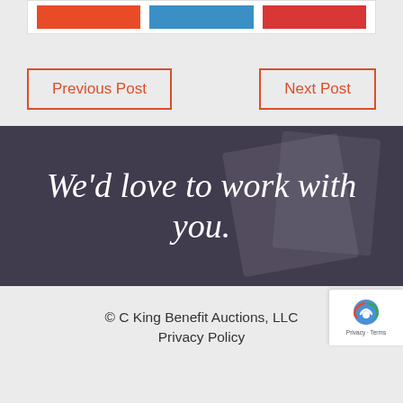[Figure (screenshot): Top bar with three colored buttons: orange, blue, and red/pink]
Previous Post
Next Post
[Figure (photo): Dark purple/grey overlay banner with italic white text reading: We'd love to work with you.]
© C King Benefit Auctions, LLC
Privacy Policy
[Figure (logo): reCAPTCHA badge with logo, Privacy and Terms links]